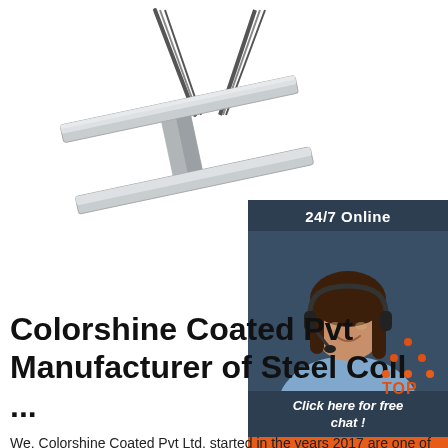[Figure (photo): Steel I-beam suspended by wire ropes/cables on white background]
[Figure (infographic): 24/7 Online chat widget — dark navy background with female customer service agent wearing headset, 'Click here for free chat!' text, and orange QUOTATION button]
Colorshine Coated Pvt ... Manufacturer of Steel Coil ...
We, Colorshine Coated Pvt Ltd. started in the years 2017 are one of the foremost Manufacturers of high-quality FRP Products like Roofing Sheets, Steel Coil, Galvalume Coil & Galvalume Sheets.
[Figure (logo): Orange and red 'TOP' badge with dots arranged in triangle above letters]